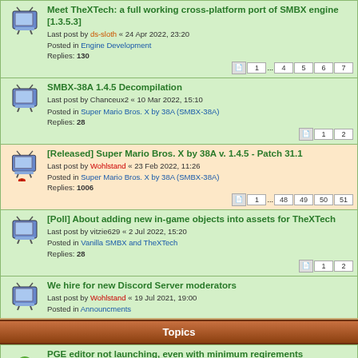Meet TheXTech: a full working cross-platform port of SMBX engine [1.3.5.3] — Last post by ds-sloth « 24 Apr 2022, 23:20 — Posted in Engine Development — Replies: 130
SMBX-38A 1.4.5 Decompilation — Last post by Chanceux2 « 10 Mar 2022, 15:10 — Posted in Super Mario Bros. X by 38A (SMBX-38A) — Replies: 28
[Released] Super Mario Bros. X by 38A v. 1.4.5 - Patch 31.1 — Last post by Wohlstand « 23 Feb 2022, 11:26 — Posted in Super Mario Bros. X by 38A (SMBX-38A) — Replies: 1006
[Poll] About adding new in-game objects into assets for TheXTech — Last post by vitzie629 « 2 Jul 2022, 15:20 — Posted in Vanilla SMBX and TheXTech — Replies: 28
We hire for new Discord Server moderators — Last post by Wohlstand « 19 Jul 2021, 19:00 — Posted in Announcments
Topics
PGE editor not launching, even with minimum reqirements — Last post by Wohlstand « 11 May 2021, 15:16 — Replies: 1
What does this mean? — Last post by TheGameyFireBro105 « 22 Mar 2021, 21:42